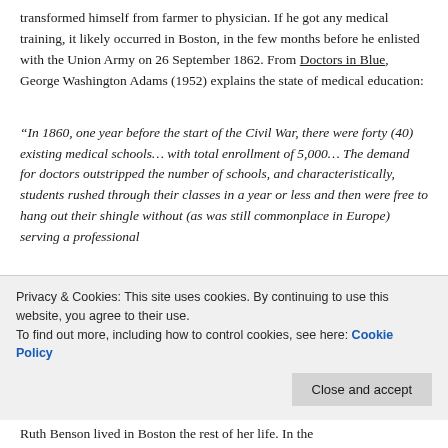transformed himself from farmer to physician. If he got any medical training, it likely occurred in Boston, in the few months before he enlisted with the Union Army on 26 September 1862. From Doctors in Blue, George Washington Adams (1952) explains the state of medical education:
“In 1860, one year before the start of the Civil War, there were forty (40) existing medical schools… with total enrollment of 5,000… The demand for doctors outstripped the number of schools, and characteristically, students rushed through their classes in a year or less and then were free to hang out their shingle without (as was still commonplace in Europe) serving a professional
Ruth Benson lived in Boston the rest of her life. In the
Privacy & Cookies: This site uses cookies. By continuing to use this website, you agree to their use.
To find out more, including how to control cookies, see here: Cookie Policy